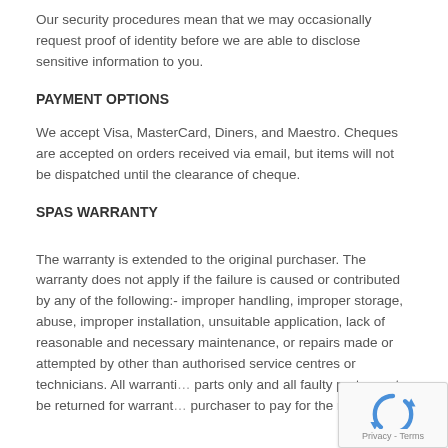Our security procedures mean that we may occasionally request proof of identity before we are able to disclose sensitive information to you.
PAYMENT OPTIONS
We accept Visa, MasterCard, Diners, and Maestro. Cheques are accepted on orders received via email, but items will not be dispatched until the clearance of cheque.
SPAS WARRANTY
The warranty is extended to the original purchaser. The warranty does not apply if the failure is caused or contributed by any of the following:- improper handling, improper storage, abuse, improper installation, unsuitable application, lack of reasonable and necessary maintenance, or repairs made or attempted by other than authorised service centres or technicians. All warranti… parts only and all faulty parts must be returned for warrant… purchaser to pay for the return.
[Figure (other): reCAPTCHA widget overlay in bottom-right corner with blue recycle-arrows logo and 'Privacy - Terms' text]